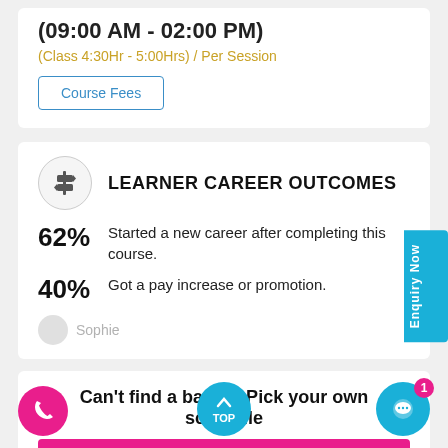(09:00 AM - 02:00 PM)
(Class 4:30Hr - 5:00Hrs) / Per Session
Course Fees
LEARNER CAREER OUTCOMES
62% Started a new career after completing this course.
40% Got a pay increase or promotion.
Can't find a batch? Pick your own schedule
REQUEST A BATCH